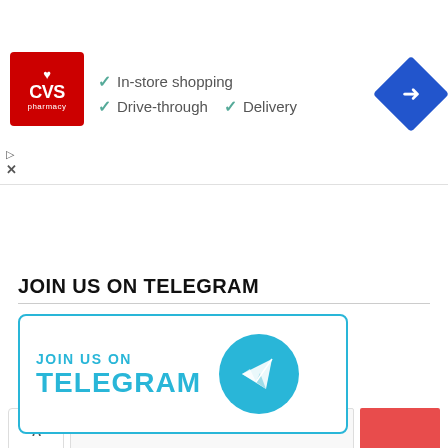[Figure (screenshot): CVS Pharmacy advertisement banner showing CVS logo (red background), checkmarks for In-store shopping, Drive-through, and Delivery, plus a blue navigation diamond icon]
[Figure (screenshot): Search bar area with caret button, text input field, and red search button]
JOIN US ON TELEGRAM
[Figure (infographic): Telegram join button with cyan border, text JOIN US ON TELEGRAM in cyan, and Telegram paper plane logo circle]
SUBSCRIBE TO BLOG VIA EMAIL
Enter your email address to subscribe to this blog and